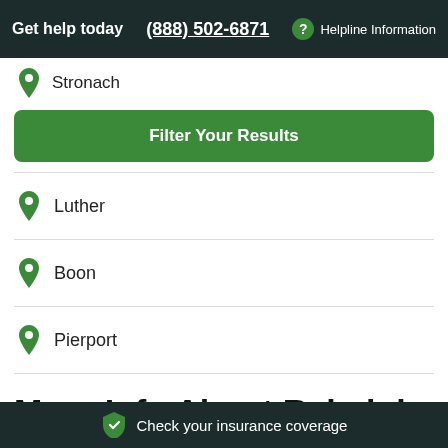Get help today | (888) 502-6871 | ? Helpline Information
Stronach
Filter Your Results
Luther
Boon
Pierport
More Info About Rehab in Wellston
Check your insurance coverage